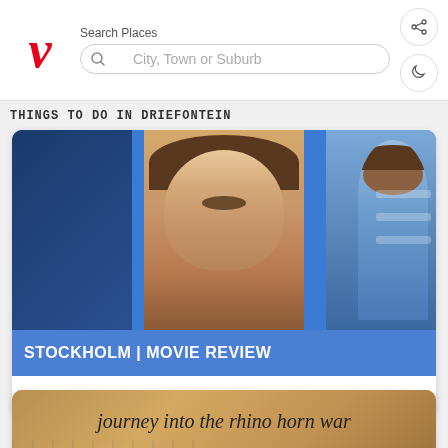[Figure (screenshot): App header with red italic V logo, Search Places label, search input with placeholder 'City, Town or Suburb', and two icon buttons (share and moon/dark mode)]
THINGS TO DO IN DRIEFONTEIN
[Figure (photo): Movie poster image for Stockholm showing a man with a mustache and long hair against a blue background]
STOCKHOLM | MOVIE REVIEW
Spling reviews Stockholm 2019
[Figure (photo): Movie poster for STROOP - Journey into the rhino horn war, showing large red STROOP text on an earth-toned background]